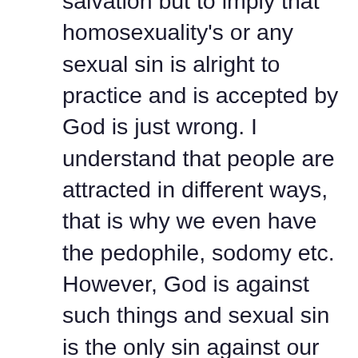salvation but to imply that homosexuality's or any sexual sin is alright to practice and is accepted by God is just wrong. I understand that people are attracted in different ways, that is why we even have the pedophile, sodomy etc. However, God is against such things and sexual sin is the only sin against our own bodies. Society tries to find ways to deal with these choices that people make but the Bible is clear. Just like lying, stealing etc, these are sin's that if we continue to do with no regret then we are not seeking Gods will for our lives. We all have to change things in our lives that take us from God, some spend their whole life on the same sin. I do not want to go there. But I will not change Gods words, nor will I try and find a way to justify a sin. I am not perfect and I strive to become more like Christ, I do not advertise